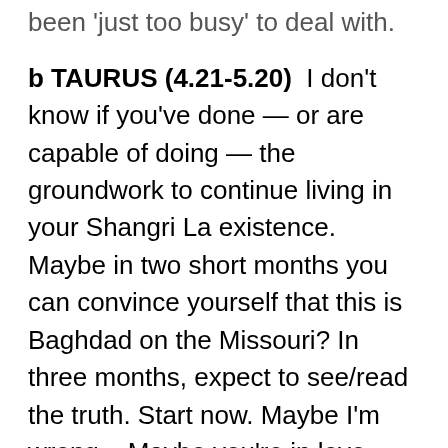been 'just too busy' to deal with.
b TAURUS (4.21-5.20)  I don't know if you've done — or are capable of doing — the groundwork to continue living in your Shangri La existence. Maybe in two short months you can convince yourself that this is Baghdad on the Missouri? In three months, expect to see/read the truth. Start now. Maybe I'm wrong... Maybe you're in love (with yourself) and it just seems like paradise...
c GEMINI (5.21-6.21)  How did your talk with Big Money go last week? You should have gotten some help from a pretty girl and an energetic Virgo. Hold on — the Virgo just got second thoughts. Are you surprised? They are